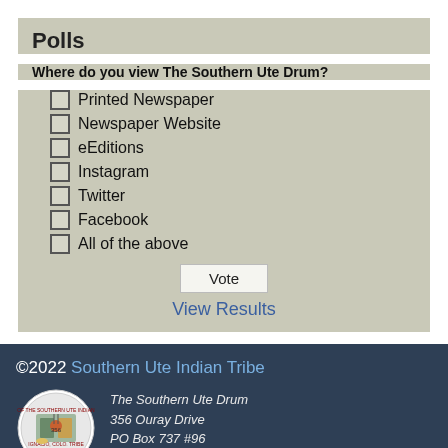Polls
Where do you view The Southern Ute Drum?
Printed Newspaper
Newspaper Website
eEditions
Instagram
Twitter
Facebook
All of the above
Vote
View Results
©2022 Southern Ute Indian Tribe
The Southern Ute Drum
356 Ouray Drive
PO Box 737 #96
Ignacio, CO 81137
970-563-0118
Archives · Terms of Use · Privacy Statement · Credits and Support